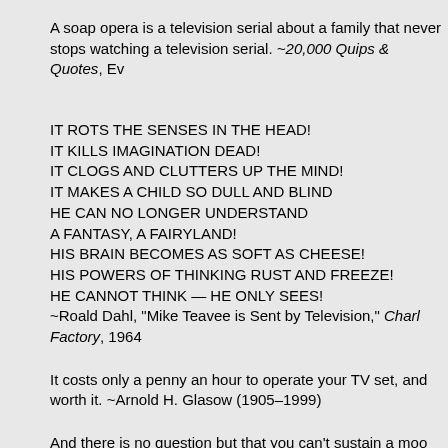A soap opera is a television serial about a family that never stops watching a television serial. ~20,000 Quips & Quotes, Ev
IT ROTS THE SENSES IN THE HEAD!
IT KILLS IMAGINATION DEAD!
IT CLOGS AND CLUTTERS UP THE MIND!
IT MAKES A CHILD SO DULL AND BLIND
HE CAN NO LONGER UNDERSTAND
A FANTASY, A FAIRYLAND!
HIS BRAIN BECOMES AS SOFT AS CHEESE!
HIS POWERS OF THINKING RUST AND FREEZE!
HE CANNOT THINK — HE ONLY SEES!
~Roald Dahl, "Mike Teavee is Sent by Television," Charlie and the Chocolate Factory, 1964
It costs only a penny an hour to operate your TV set, and it's worth it. ~Arnold H. Glasow (1905–1999)
And there is no question but that you can't sustain a mood of a particular kind, when at the end of the climactic moment, you see a couple of dancing rabbits with toilet paper. ~Rod Serling, Literature to Adolescents: Plays by Alan R. Howes, 1968